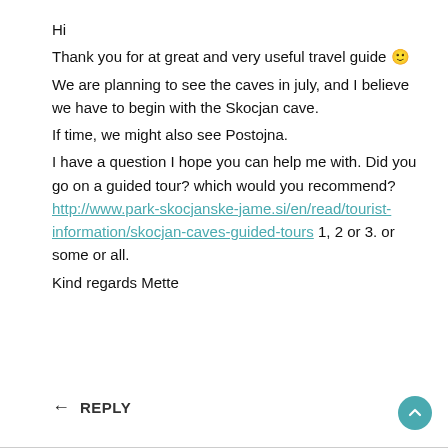Hi
Thank you for at great and very useful travel guide 🙂
We are planning to see the caves in july, and I believe we have to begin with the Skocjan cave.
If time, we might also see Postojna.
I have a question I hope you can help me with. Did you go on a guided tour? which would you recommend? http://www.park-skocjanske-jame.si/en/read/tourist-information/skocjan-caves-guided-tours 1, 2 or 3. or some or all.
Kind regards Mette
↩ REPLY